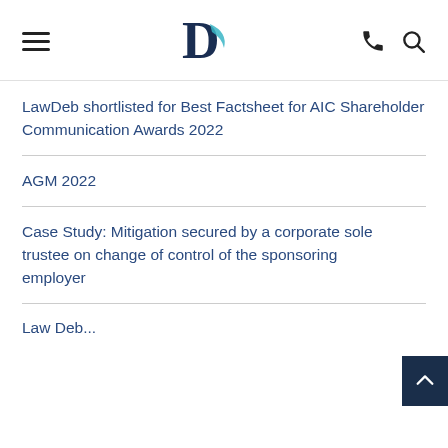LawDeb logo with hamburger menu, phone and search icons
LawDeb shortlisted for Best Factsheet for AIC Shareholder Communication Awards 2022
AGM 2022
Case Study: Mitigation secured by a corporate sole trustee on change of control of the sponsoring employer
Law Deb...